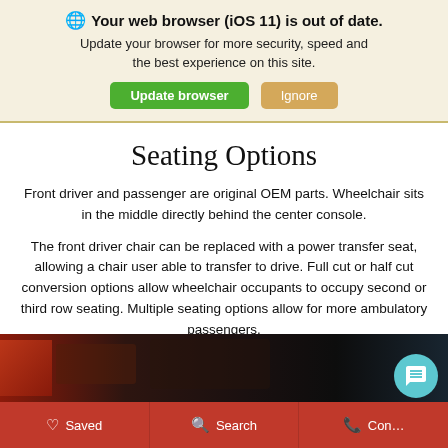🌐 Your web browser (iOS 11) is out of date. Update your browser for more security, speed and the best experience on this site. [Update browser] [Ignore]
Seating Options
Front driver and passenger are original OEM parts. Wheelchair sits in the middle directly behind the center console.
The front driver chair can be replaced with a power transfer seat, allowing a chair user able to transfer to drive. Full cut or half cut conversion options allow wheelchair occupants to occupy second or third row seating. Multiple seating options allow for more ambulatory passengers.
[Figure (photo): Car interior photo strip showing dashboard and seating area with red accents]
Saved   Search   Contact